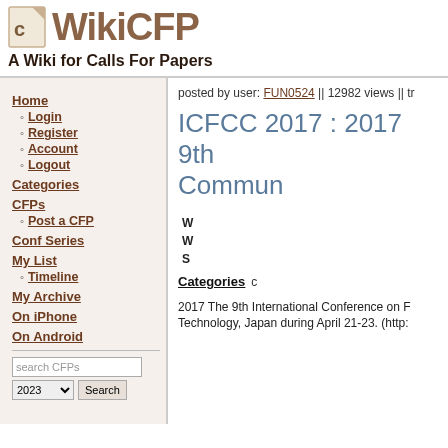WikiCFP — A Wiki for Calls For Papers
Home
Login
Register
Account
Logout
Categories
CFPs
Post a CFP
Conf Series
My List
Timeline
My Archive
On iPhone
On Android
posted by user: FUN0524 || 12982 views || tr
ICFCC 2017 : 2017 9th Commun
W
W
S
Categories c
2017 The 9th International Conference on F Technology, Japan during April 21-23. (http: